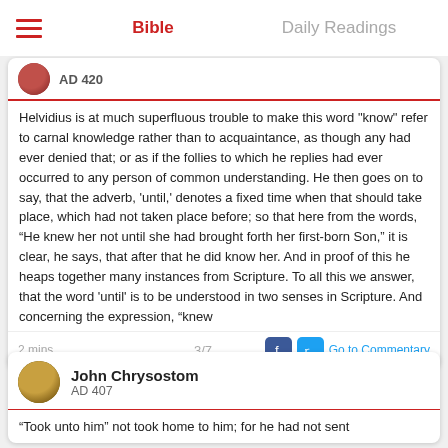Bible   Daily Readings
AD 420
Helvidius is at much superfluous trouble to make this word "know" refer to carnal knowledge rather than to acquaintance, as though any had ever denied that; or as if the follies to which he replies had ever occurred to any person of common understanding. He then goes on to say, that the adverb, 'until,' denotes a fixed time when that should take place, which had not taken place before; so that here from the words, “He knew her not until she had brought forth her first-born Son,” it is clear, he says, that after that he did know her. And in proof of this he heaps together many instances from Scripture. To all this we answer, that the word 'until' is to be understood in two senses in Scripture. And concerning the expression, "knew
2 mins
3/7
Go to Commentary
John Chrysostom
AD 407
“Took unto him” not took home to him; for he had not sent